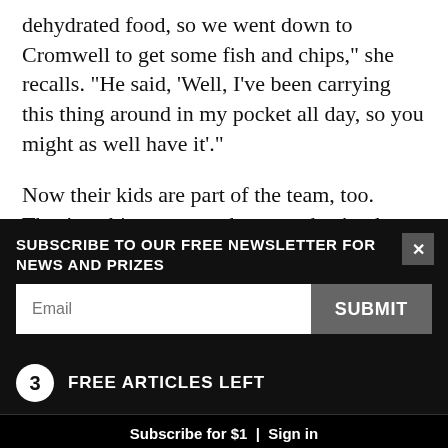dehydrated food, so we went down to Cromwell to get some fish and chips,” she recalls. “He said, ‘Well, I’ve been carrying this thing around in my pocket all day, so you might as well have it’.”
Now their kids are part of the team, too. They’re a bit young to shoot, so they’re the ‘picker-uppers’, she says.
There are four men from Sweden who heard a rumour about the bunny hunt, discovered it was true and signed up immediately. They’re easy to find, dressed
SUBSCRIBE TO OUR FREE NEWSLETTER FOR NEWS AND PRIZES
Email
SUBMIT
3 FREE ARTICLES LEFT
Subscribe for $1 | Sign in